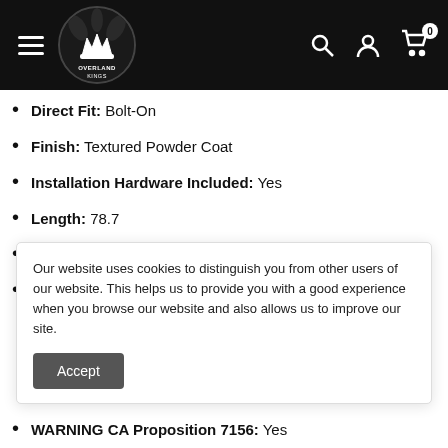Overland Kings – navigation header with logo, hamburger menu, search, account, and cart icons
Direct Fit: Bolt-On
Finish: Textured Powder Coat
Installation Hardware Included: Yes
Length: 78.7
Material: Steel
Mounting Hardware Included: Y
Our website uses cookies to distinguish you from other users of our website. This helps us to provide you with a good experience when you browse our website and also allows us to improve our site.
WARNING CA Proposition 7156: Yes